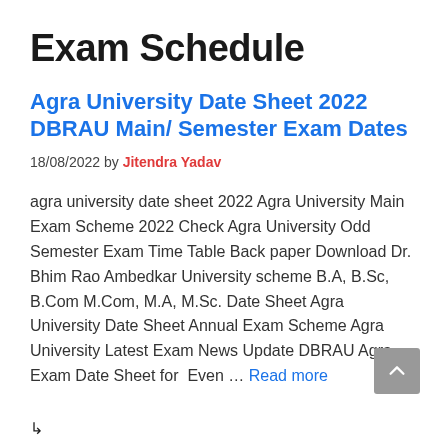Exam Schedule
Agra University Date Sheet 2022 DBRAU Main/ Semester Exam Dates
18/08/2022 by Jitendra Yadav
agra university date sheet 2022 Agra University Main Exam Scheme 2022 Check Agra University Odd Semester Exam Time Table Back paper Download Dr. Bhim Rao Ambedkar University scheme B.A, B.Sc, B.Com M.Com, M.A, M.Sc. Date Sheet Agra University Date Sheet Annual Exam Scheme Agra University Latest Exam News Update DBRAU Agra Exam Date Sheet for  Even … Read more